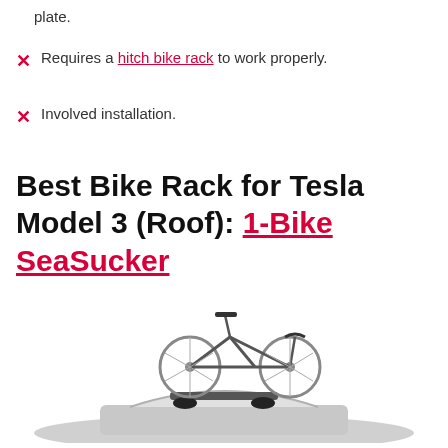plate.
✗ Requires a hitch bike rack to work properly.
✗ Involved installation.
Best Bike Rack for Tesla Model 3 (Roof): 1-Bike SeaSucker
[Figure (photo): Photo of a bicycle mounted on top of a car using a roof rack system, in grayscale.]